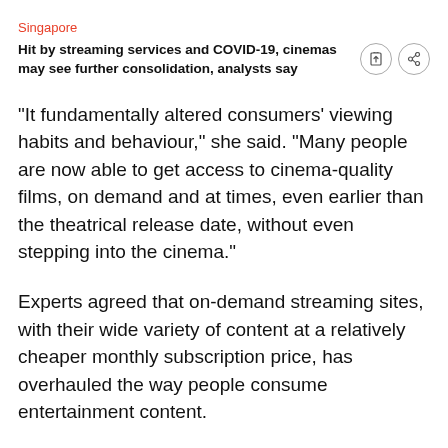Singapore
Hit by streaming services and COVID-19, cinemas may see further consolidation, analysts say
“It fundamentally altered consumers' viewing habits and behaviour,” she said. “Many people are now able to get access to cinema-quality films, on demand and at times, even earlier than the theatrical release date, without even stepping into the cinema.”
Experts agreed that on-demand streaming sites, with their wide variety of content at a relatively cheaper monthly subscription price, has overhauled the way people consume entertainment content.
“If I go to the cinema, there are maybe 10 films I can watch and if I return next week, maybe there will be